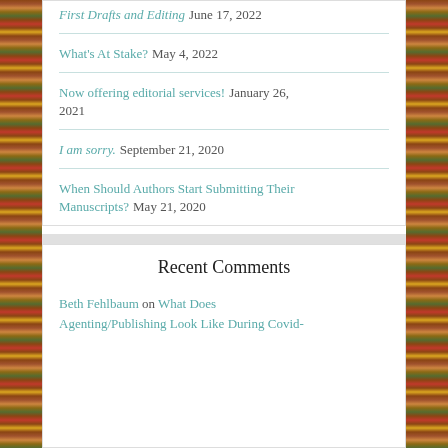First Drafts and Editing June 17, 2022
What's At Stake? May 4, 2022
Now offering editorial services! January 26, 2021
I am sorry. September 21, 2020
When Should Authors Start Submitting Their Manuscripts? May 21, 2020
Recent Comments
Beth Fehlbaum on What Does Agenting/Publishing Look Like During Covid-